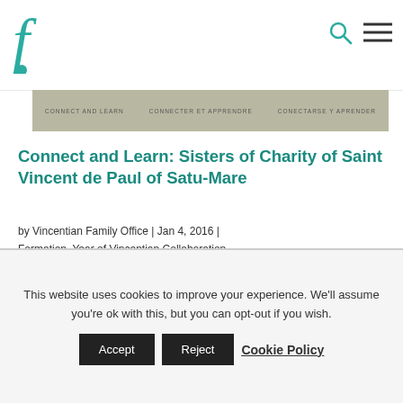F [logo] [search icon] [menu icon]
[Figure (screenshot): Banner strip with multilingual text: CONNECT AND LEARN | CONNECTER ET APPRENDRE | CONECTARSE Y APRENDER]
Connect and Learn: Sisters of Charity of Saint Vincent de Paul of Satu-Mare
by Vincentian Family Office | Jan 4, 2016 | Formation, Year of Vincentian Collaboration
They were founded 1842 by Bishop John Ham (1781-1804) in Satu-Mare (Szatmar, then Austria-Hungary, now Romania) for...
This website uses cookies to improve your experience. We'll assume you're ok with this, but you can opt-out if you wish. Accept Reject Cookie Policy